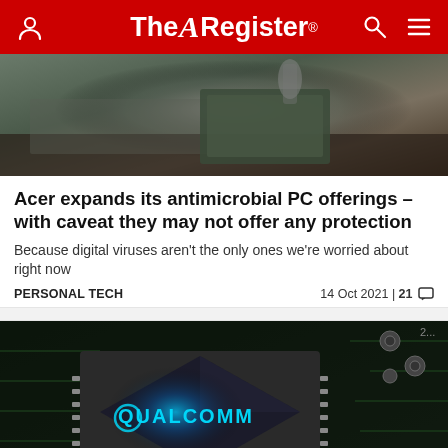The Register
[Figure (photo): Top portion of article image showing military-style green laptop/device on stone surface]
Acer expands its antimicrobial PC offerings – with caveat they may not offer any protection
Because digital viruses aren't the only ones we're worried about right now
PERSONAL TECH    14 Oct 2021 | 21 💬
[Figure (photo): Close-up photo of Qualcomm processor chip with glowing blue logo on dark circuit board background]